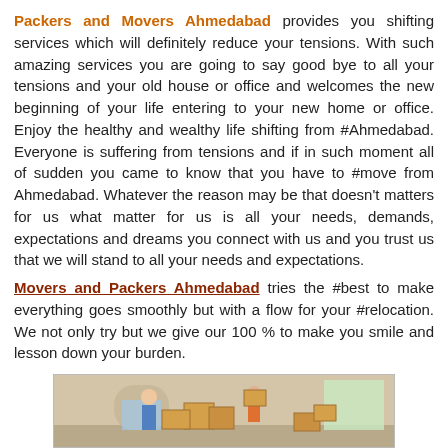Packers and Movers Ahmedabad provides you shifting services which will definitely reduce your tensions. With such amazing services you are going to say good bye to all your tensions and your old house or office and welcomes the new beginning of your life entering to your new home or office. Enjoy the healthy and wealthy life shifting from #Ahmedabad. Everyone is suffering from tensions and if in such moment all of sudden you came to know that you have to #move from Ahmedabad. Whatever the reason may be that doesn't matters for us what matter for us is all your needs, demands, expectations and dreams you connect with us and you trust us that we will stand to all your needs and expectations.
Movers and Packers Ahmedabad tries the #best to make everything goes smoothly but with a flow for your #relocation. We not only try but we give our 100 % to make you smile and lesson down your burden.
[Figure (photo): Photo of people moving boxes in a house, showing movers carrying cardboard boxes in a home interior]